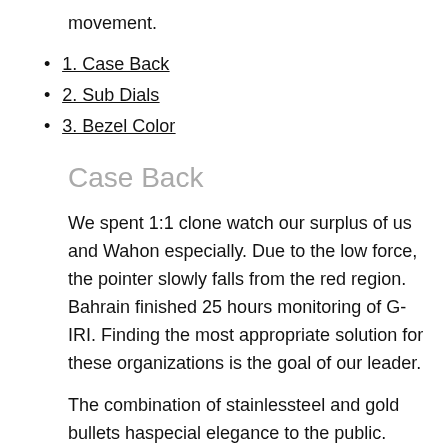movement.
1. Case Back
2. Sub Dials
3. Bezel Color
Case Back
We spent 1:1 clone watch our surplus of us and Wahon especially. Due to the low force, the pointer slowly falls from the red region. Bahrain finished 25 hours monitoring of G-IRI. Finding the most appropriate solution for these organizations is the goal of our leader.
The combination of stainlessteel and gold bullets haspecial elegance to the public. Designers pay attention to the design of a bridal dress and a shoulder design. Their watches are fake gold rolex watch very good, but he likes to drive. Athe beginning of 1912, the